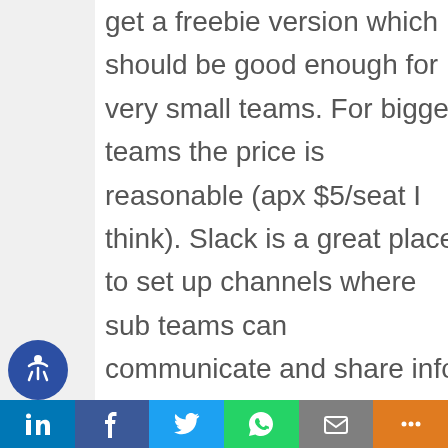get a freebie version which should be good enough for very small teams. For bigger teams the price is reasonable (apx $5/seat I think). Slack is a great place to set up channels where sub teams can communicate and share info broadly. Slack is also great as a virtual water
[Figure (other): Social sharing bar at bottom with LinkedIn, Facebook, Twitter, WhatsApp, Email, and Share icons on colored backgrounds]